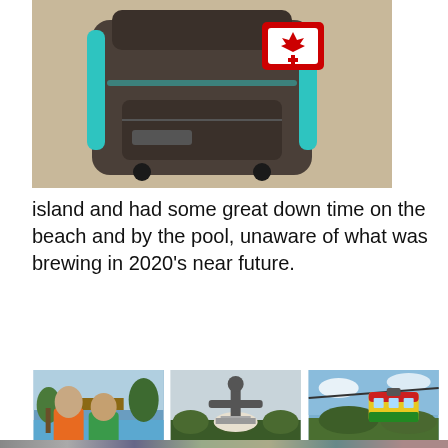[Figure (photo): A travel backpack with a Canada flag patch sitting on a wooden floor]
island and had some great down time on the beach and by the pool, unaware of what was brewing in 2020’s near future.
[Figure (photo): Three travel photos side by side: two men at a resort pool, a large Christ statue on a hill, and a cable car gondola over jungle]
[Figure (photo): Partial strip of additional travel photos at very bottom of page]